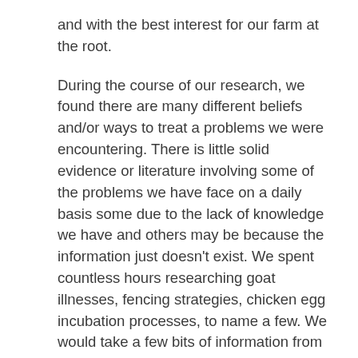and with the best interest for our farm at the root.
During the course of our research, we found there are many different beliefs and/or ways to treat a problems we were encountering. There is little solid evidence or literature involving some of the problems we have face on a daily basis some due to the lack of knowledge we have and others may be because the information just doesn't exist. We spent countless hours researching goat illnesses, fencing strategies, chicken egg incubation processes, to name a few. We would take a few bits of information from this site, mix it with personal stories from this forum and some common sense to decide how to best move forward. Sometimes it worked and sometimes it was a complete fail. Then a thought stemmed from all of this knowledge exploration, what do we do with all of this information? If we are having this same problem with finding the information, surely there